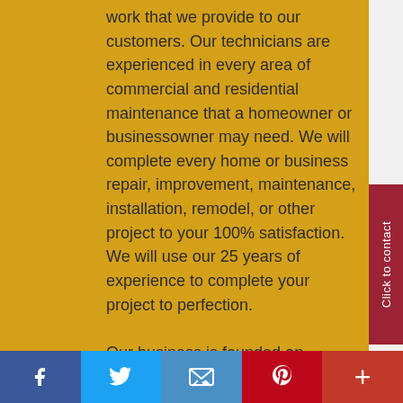work that we provide to our customers. Our technicians are experienced in every area of commercial and residential maintenance that a homeowner or businessowner may need. We will complete every home or business repair, improvement, maintenance, installation, remodel, or other project to your 100% satisfaction. We will use our 25 years of experience to complete your project to perfection.

Our business is founded on customer satisfaction and a growing list of referrals.
Click to contact